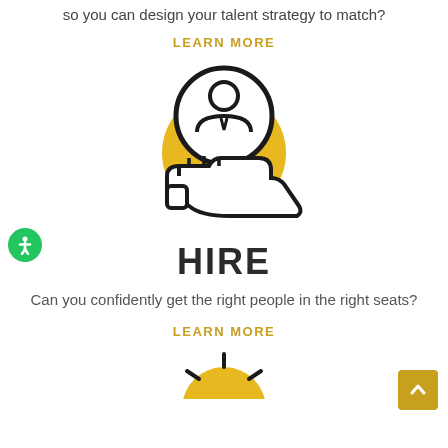so you can design your talent strategy to match?
LEARN MORE
[Figure (illustration): Icon of a hand holding a person in a circle, with a gold circle background. Represents hiring/talent.]
HIRE
Can you confidently get the right people in the right seats?
LEARN MORE
[Figure (illustration): Partial icon at bottom of page, yellow circle with rays, partially visible]